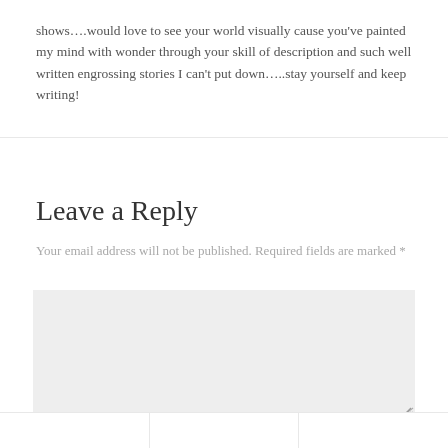shows….would love to see your world visually cause you've painted my mind with wonder through your skill of description and such well written engrossing stories I can't put down…..stay yourself and keep writing!
Leave a Reply
Your email address will not be published. Required fields are marked *